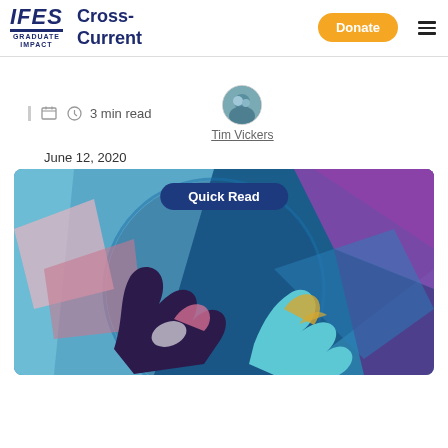IFES Graduate Impact | Cross-Current | Donate | Menu
3 min read
Tim Vickers
June 12, 2020
[Figure (illustration): Abstract colorful illustration showing two hands reaching toward each other against a geometric background of blues, purples, pinks, and teals, with a 'Quick Read' badge overlay]